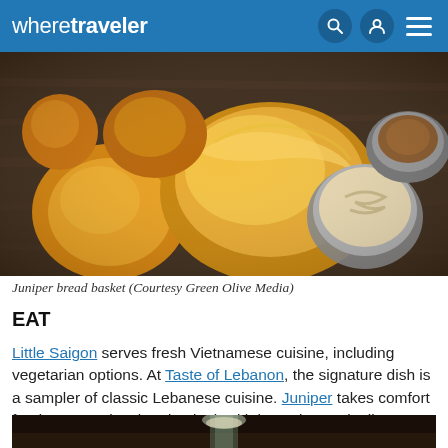wheretraveler
[Figure (photo): Overhead shot of bread basket on wooden board, including round golden rolls and a flaky biscuit, with small bowls of dipping sauces]
Juniper bread basket (Courtesy Green Olive Media)
EAT
Little Saigon serves fresh Vietnamese cuisine, including vegetarian options. At Taste of Lebanon, the signature dish is a sampler of classic Lebanese cuisine. Juniper takes comfort food to a new level and pairs it with inventive cocktails.
[Figure (photo): Bottom portion of a second food/drink photo, dark background with a glass visible]